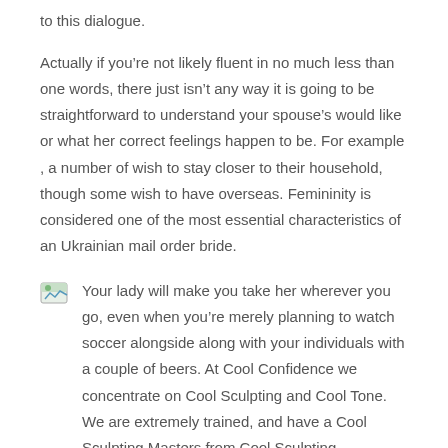to this dialogue.
Actually if you’re not likely fluent in no much less than one words, there just isn’t any way it is going to be straightforward to understand your spouse’s would like or what her correct feelings happen to be. For example , a number of wish to stay closer to their household, though some wish to have overseas. Femininity is considered one of the most essential characteristics of an Ukrainian mail order bride.
Your lady will make you take her wherever you go, even when you’re merely planning to watch soccer alongside along with your individuals with a couple of beers. At Cool Confidence we concentrate on Cool Sculpting and Cool Tone. We are extremely trained, and have a Cool Sculpting Masters from Cool Sculpting University! Cool Confidence, when the health club and dieting just aren’t slicing it to give you the confidence you deserve. We supply skilled Cool Sculpting procedures, with over 10 years experience in the subject. Anastasia Bodrova is an ethnographer who has met